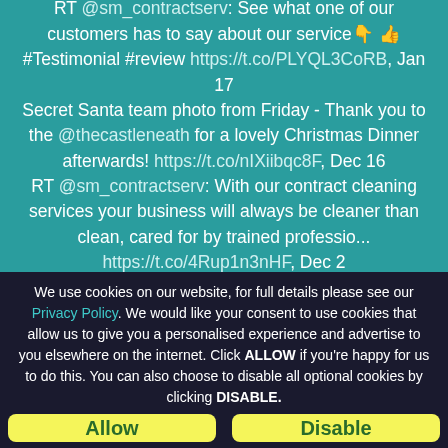RT @sm_contractserv: See what one of our customers has to say about our service👇 👍 #Testimonial #review https://t.co/PLYQL3CoRB, Jan 17 Secret Santa team photo from Friday - Thank you to the @thecastleneath for a lovely Christmas Dinner afterwards! https://t.co/nIXiibqc8F, Dec 16 RT @sm_contractserv: With our contract cleaning services your business will always be cleaner than clean, cared for by trained professio... https://t.co/4Rup1n3nHF, Dec 2
We use cookies on our website, for full details please see our Privacy Policy. We would like your consent to use cookies that allow us to give you a personalised experience and advertise to you elsewhere on the internet. Click ALLOW if you're happy for us to do this. You can also choose to disable all optional cookies by clicking DISABLE.